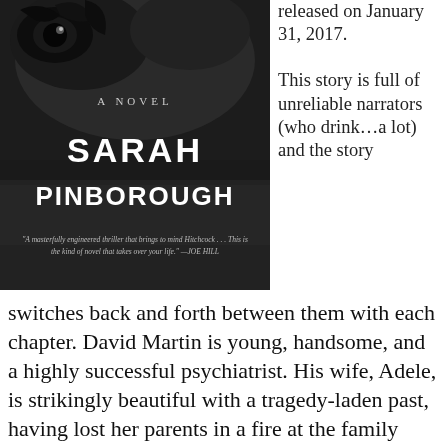[Figure (photo): Book cover of a novel by Sarah Pinborough. Dark background with a close-up of an eye. Text reads 'A NOVEL' near the top center in small caps, 'SARAH PINBOROUGH' in large bold white letters across the middle, and a blurb at the bottom: 'A masterfully engineered thriller that brings to mind Hitchcock... This is the kind of novel that takes over your life.' —JOE HILL]
released on January 31, 2017.

This story is full of unreliable narrators (who drink...a lot) and the story switches back and forth between them with each chapter. David Martin is young, handsome, and a highly successful psychiatrist. His wife, Adele, is strikingly beautiful with a tragedy-laden past, having lost her parents in a fire at the family estate prior to her marriage to David. Enter Louise, a divorced,